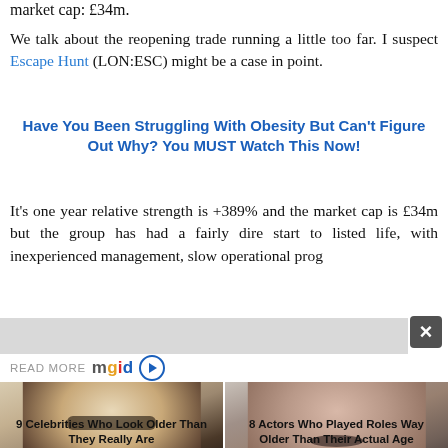market cap: £34m.
We talk about the reopening trade running a little too far. I suspect Escape Hunt (LON:ESC) might be a case in point.
[Figure (infographic): Advertisement banner: Have You Been Struggling With Obesity But Can't Figure Out Why? You MUST Watch This Now!]
It's one year relative strength is +389% and the market cap is £34m but the group has had a fairly dire start to listed life, with inexperienced management, slow operational prog…
READ MORE mgid
[Figure (photo): Photo of a blonde woman wearing glasses]
9 Celebrities Who Look Older Than They Really Are
[Figure (photo): Photo of a woman with her mouth open in surprise]
8 Actors Who Played Roles Way Older Than Their Actual Age